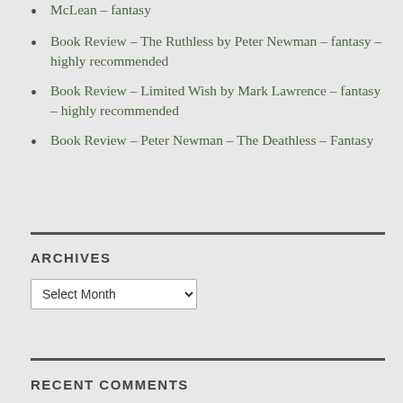McLean – fantasy
Book Review – The Ruthless by Peter Newman – fantasy – highly recommended
Book Review – Limited Wish by Mark Lawrence – fantasy – highly recommended
Book Review – Peter Newman – The Deathless – Fantasy
ARCHIVES
RECENT COMMENTS